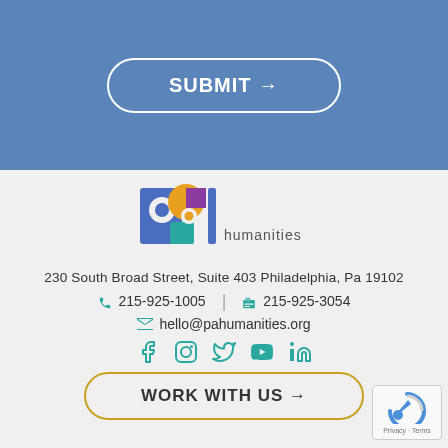[Figure (other): Blue button with white border and text 'SUBMIT →']
[Figure (logo): PA Humanities logo with colorful circular letters 'pa' and text 'humanities']
230 South Broad Street, Suite 403 Philadelphia, Pa 19102
215-925-1005  |  215-925-3054
hello@pahumanities.org
[Figure (other): Social media icons: Facebook, Instagram, Twitter, YouTube, LinkedIn in teal color]
[Figure (other): Button with gold/yellow border and text 'WORK WITH US →']
[Figure (other): reCAPTCHA badge with Privacy and Terms text]